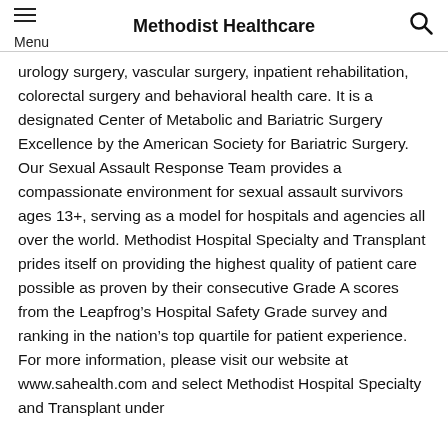Methodist Healthcare
urology surgery, vascular surgery, inpatient rehabilitation, colorectal surgery and behavioral health care. It is a designated Center of Metabolic and Bariatric Surgery Excellence by the American Society for Bariatric Surgery. Our Sexual Assault Response Team provides a compassionate environment for sexual assault survivors ages 13+, serving as a model for hospitals and agencies all over the world. Methodist Hospital Specialty and Transplant prides itself on providing the highest quality of patient care possible as proven by their consecutive Grade A scores from the Leapfrog’s Hospital Safety Grade survey and ranking in the nation’s top quartile for patient experience. For more information, please visit our website at www.sahealth.com and select Methodist Hospital Specialty and Transplant under